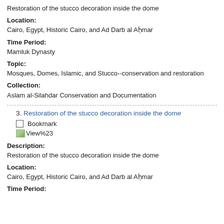Restoration of the stucco decoration inside the dome
Location:
Cairo, Egypt, Historic Cairo, and Ad Darb al Aḥmar
Time Period:
Mamluk Dynasty
Topic:
Mosques, Domes, Islamic, and Stucco--conservation and restoration
Collection:
Aslam al-Silahdar Conservation and Documentation
3. Restoration of the stucco decoration inside the dome
Bookmark
[Figure (other): View%23 icon link]
Description:
Restoration of the stucco decoration inside the dome
Location:
Cairo, Egypt, Historic Cairo, and Ad Darb al Aḥmar
Time Period: